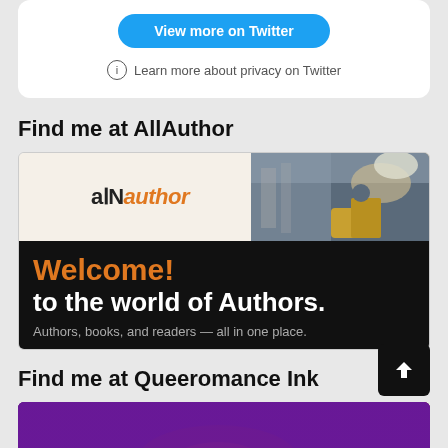[Figure (screenshot): Twitter widget with 'View more on Twitter' blue button and privacy notice]
Learn more about privacy on Twitter
Find me at AllAuthor
[Figure (screenshot): AllAuthor banner with logo, photo, 'Welcome! to the world of Authors. Authors, books, and readers — all in one place.']
Find me at Queeromance Ink
[Figure (screenshot): Partial view of Queeromance Ink banner in purple/red tones]